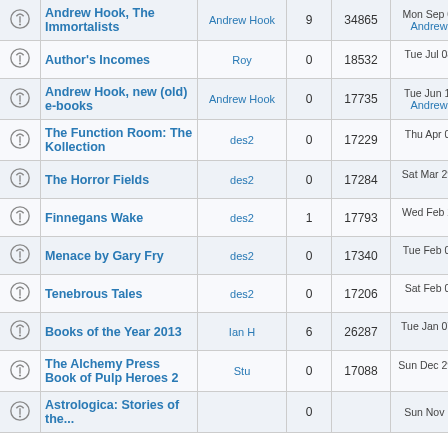|  | Topic | Author | Replies | Views | Last Post |
| --- | --- | --- | --- | --- | --- |
|  | Andrew Hook, The Immortalists | Andrew Hook | 9 | 34865 | Mon Sep 01, 2014 8... Andrew Hook → |
|  | Author's Incomes | Roy | 0 | 18532 | Tue Jul 08, 2014 10... Roy → |
|  | Andrew Hook, new (old) e-books | Andrew Hook | 0 | 17735 | Tue Jun 10, 2014 9:... Andrew Hook → |
|  | The Function Room: The Kollection | des2 | 0 | 17229 | Thu Apr 03, 2014 3:... des2 → |
|  | The Horror Fields | des2 | 0 | 17284 | Sat Mar 29, 2014 12... des2 → |
|  | Finnegans Wake | des2 | 1 | 17793 | Wed Feb 26, 2014 9... des2 → |
|  | Menace by Gary Fry | des2 | 0 | 17340 | Tue Feb 04, 2014 7:... des2 → |
|  | Tenebrous Tales | des2 | 0 | 17206 | Sat Feb 01, 2014 8:... des2 → |
|  | Books of the Year 2013 | Ian H | 6 | 26287 | Tue Jan 07, 2014 12... Pete → |
|  | The Alchemy Press Book of Pulp Heroes 2 | Stu | 0 | 17088 | Sun Dec 29, 2013 10... Stu → |
|  | Astrologica: Stories of the... |  | 0 | ... | Sun Nov 17, 2013 6... |